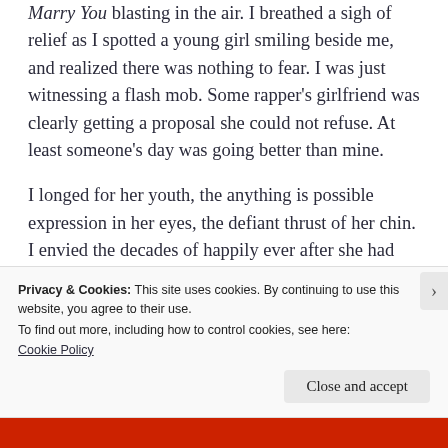Marry You blasting in the air. I breathed a sigh of relief as I spotted a young girl smiling beside me, and realized there was nothing to fear. I was just witnessing a flash mob. Some rapper's girlfriend was clearly getting a proposal she could not refuse. At least someone's day was going better than mine.
I longed for her youth, the anything is possible expression in her eyes, the defiant thrust of her chin. I envied the decades of happily ever after she had ahead of her, the birthdays to be celebrated instead of feared.
Privacy & Cookies: This site uses cookies. By continuing to use this website, you agree to their use.
To find out more, including how to control cookies, see here:
Cookie Policy